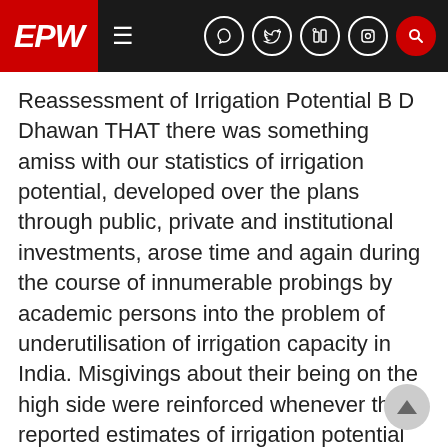EPW
Reassessment of Irrigation Potential B D Dhawan THAT there was something amiss with our statistics of irrigation potential, developed over the plans through public, private and institutional investments, arose time and again during the course of innumerable probings by academic persons into the problem of underutilisation of irrigation capacity in India. Misgivings about their being on the high side were reinforced whenever the reported estimates of irrigation potential utilised were compared by some scholars with data from alternative sources. For example, these estimates have tended to exceed the levels based on our agricultural land records. At the end of the Sixth Five- Ycar